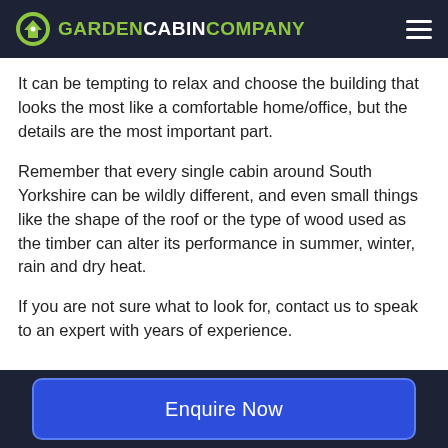GARDEN CABIN COMPANY
It can be tempting to relax and choose the building that looks the most like a comfortable home/office, but the details are the most important part.
Remember that every single cabin around South Yorkshire can be wildly different, and even small things like the shape of the roof or the type of wood used as the timber can alter its performance in summer, winter, rain and dry heat.
If you are not sure what to look for, contact us to speak to an expert with years of experience.
Enquire Now